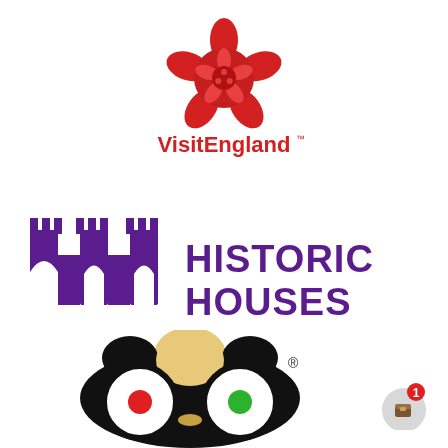[Figure (logo): VisitEngland logo: red Tudor rose flower icon above red 'VisitEngland' text with TM mark]
[Figure (logo): Historic Houses logo: purple castle/arch icon on left, purple bold text 'HISTORIC HOUSES' on right]
[Figure (logo): TripAdvisor owl logo: black and white owl face with large round eyes, red dot in left eye, green dot in right eye, tan/beige forehead, registered trademark symbol]
[Figure (illustration): Notification badge: circular gray badge with small brown icon and number 1 in red circle]